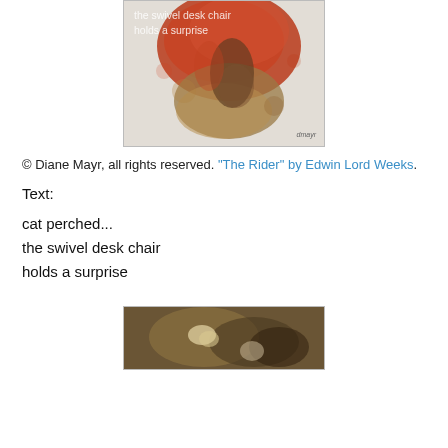[Figure (photo): Book cover or illustrated artwork with red/orange abstract background and a figure; text overlay reads 'the swivel desk chair holds a surprise'; watermark 'dmayr' at bottom right]
© Diane Mayr, all rights reserved. "The Rider" by Edwin Lord Weeks.
Text:
cat perched...
the swivel desk chair
holds a surprise
[Figure (photo): Partial view of a painting or photograph showing dark brown/golden tones, appears to be a figure or scene from 'The Rider' by Edwin Lord Weeks]